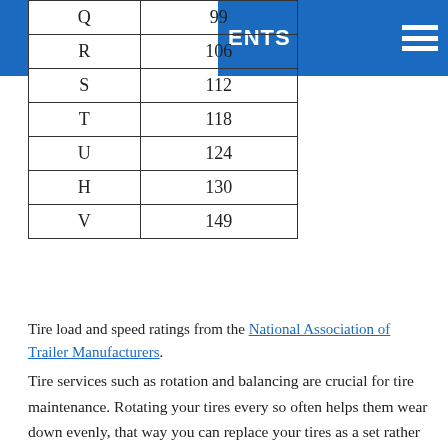| Speed Rating | Max Speed (mph) |
| --- | --- |
| Q | 99 |
| R | 106 |
| S | 112 |
| T | 118 |
| U | 124 |
| H | 130 |
| V | 149 |
Tire load and speed ratings from the National Association of Trailer Manufacturers.
Tire services such as rotation and balancing are crucial for tire maintenance. Rotating your tires every so often helps them wear down evenly, that way you can replace your tires as a set rather than having to replace one or two sooner than the rest. This also ensures your safety on the road. Balancing is